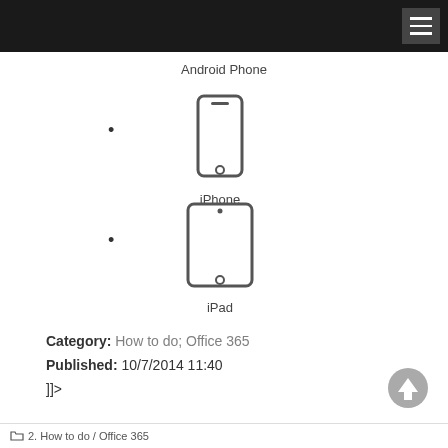Android Phone
iPhone
iPad
Category: How to do; Office 365
Published: 10/7/2014 11:40
]]>
2. How to do / Office 365